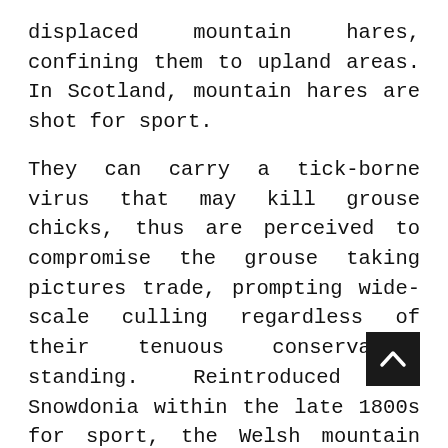displaced mountain hares, confining them to upland areas. In Scotland, mountain hares are shot for sport.
They can carry a tick-borne virus that may kill grouse chicks, thus are perceived to compromise the grouse taking pictures trade, prompting wide-scale culling regardless of their tenuous conservation standing. Reintroduced to Snowdonia within the late 1800s for sport, the Welsh mountain hare inhabitants have since died out.
A modern reintroduction program holds